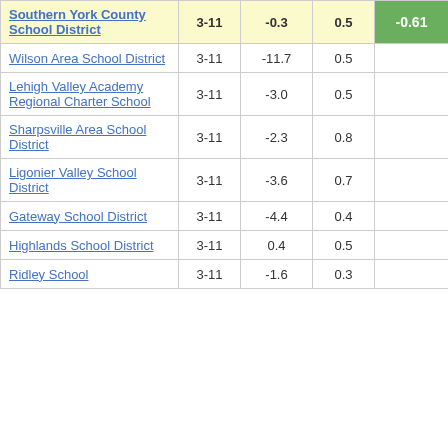| School District | Grades | Change | Goal | Score |
| --- | --- | --- | --- | --- |
| Southern York County School District | 3-11 | -0.3 | 0.5 | -0.61 |
| Wilson Area School District | 3-11 | -11.7 | 0.5 | -22.42 |
| Lehigh Valley Academy Regional Charter School | 3-11 | -3.0 | 0.5 | -5.67 |
| Sharpsville Area School District | 3-11 | -2.3 | 0.8 | -3.04 |
| Ligonier Valley School District | 3-11 | -3.6 | 0.7 | -5.49 |
| Gateway School District | 3-11 | -4.4 | 0.4 | -10.58 |
| Highlands School District | 3-11 | 0.4 | 0.5 | 0.78 |
| Ridley School | 3-11 | -1.6 | 0.3 | -4.52 |